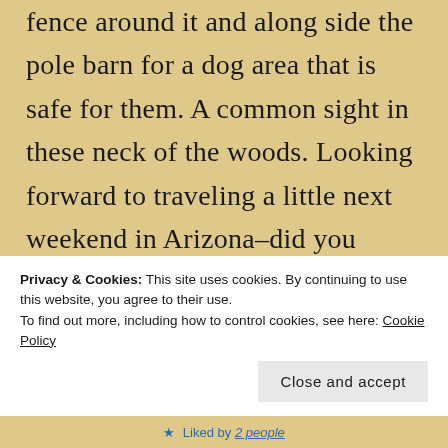fence around it and along side the pole barn for a dog area that is safe for them. A common sight in these neck of the woods. Looking forward to traveling a little next weekend in Arizona–did you know I'll be staying overnight at Marsha's place? Then on to Sedona. A very whirlwind trip but
Privacy & Cookies: This site uses cookies. By continuing to use this website, you agree to their use.
To find out more, including how to control cookies, see here: Cookie Policy
Close and accept
Liked by 2 people